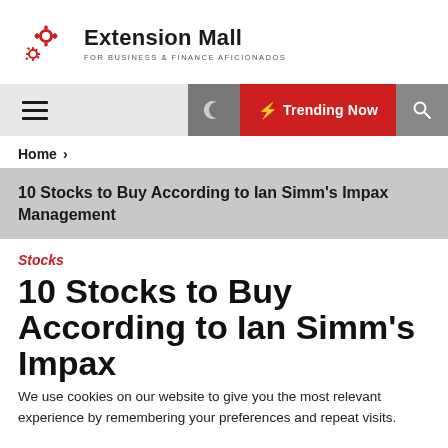[Figure (logo): Extension Mall logo with gear/cog icons in red and the text 'Extension Mall' in bold with subtitle 'FOR BUSINESS & FINANCE AFICIONADOS']
Extension Mall — FOR BUSINESS & FINANCE AFICIONADOS
Home >
10 Stocks to Buy According to Ian Simm's Impax Management
Stocks
10 Stocks to Buy According to Ian Simm's Impax
We use cookies on our website to give you the most relevant experience by remembering your preferences and repeat visits.